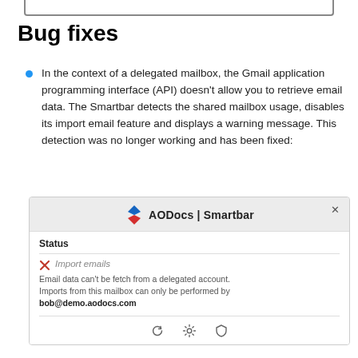Bug fixes
In the context of a delegated mailbox, the Gmail application programming interface (API) doesn’t allow you to retrieve email data. The Smartbar detects the shared mailbox usage, disables its import email feature and displays a warning message. This detection was no longer working and has been fixed:
[Figure (screenshot): AODocs Smartbar dialog showing Status panel with an error: Import emails disabled because Email data can’t be fetch from a delegated account. Imports from this mailbox can only be performed by bob@demo.aodocs.com]